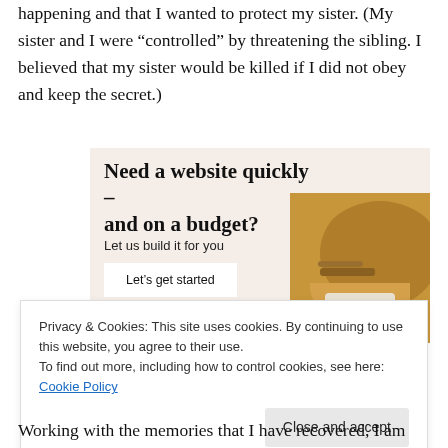happening and that I wanted to protect my sister. (My sister and I were “controlled” by threatening the sibling. I believed that my sister would be killed if I did not obey and keep the secret.)
[Figure (screenshot): Advertisement banner with beige/pink background showing text 'Need a website quickly – and on a budget? Let us build it for you' with a 'Let’s get started' button and a circular photo of hands working on a laptop.]
Privacy & Cookies: This site uses cookies. By continuing to use this website, you agree to their use.
To find out more, including how to control cookies, see here: Cookie Policy
Close and accept
Working with the memories that I have recovered, I am